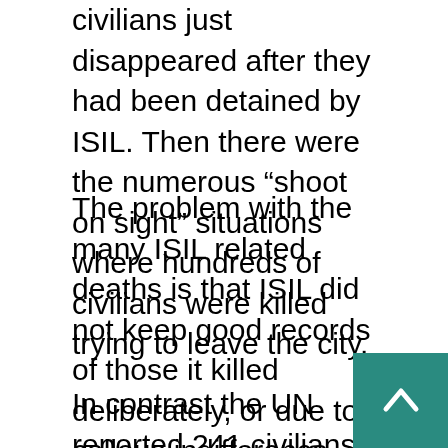civilians just disappeared after they had been detained by ISIL. Then there were the numerous “shoot on sight” situations where hundreds of civilians were killed trying to leave the city.
The problem with the many ISIL related deaths is that ISIL did not keep good records of those it killed deliberately, or due to callous indifference. The civilian deaths from three years of ISIL activity in Iraq may well be over 100,000 dead. Meanwhile deaths from Islamic terrorism violence in general are way down in Iraq. The UN reports that in August there were 125 civilians killed by terrorist violence outside of war zones. These numbers have been coming down each month for over a year.
In contrast the UN reported 241 civilians were killed during July. This only included those Iraqis in government controlled areas. The military has been